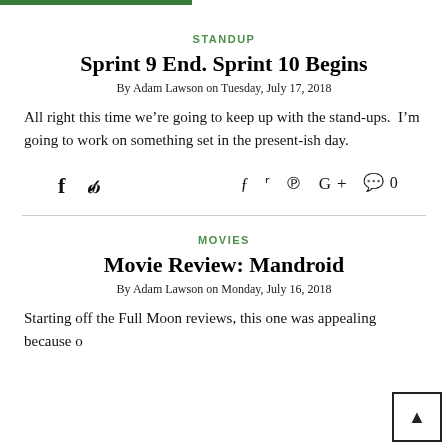STANDUP
Sprint 9 End. Sprint 10 Begins
By Adam Lawson on Tuesday, July 17, 2018
All right this time we’re going to keep up with the stand-ups.  I’m going to work on something set in the present-ish day.
[Figure (other): Social share icons: Facebook, Twitter, Pinterest, Google+, comment bubble with 0]
MOVIES
Movie Review: Mandroid
By Adam Lawson on Monday, July 16, 2018
Starting off the Full Moon reviews, this one was appealing because o